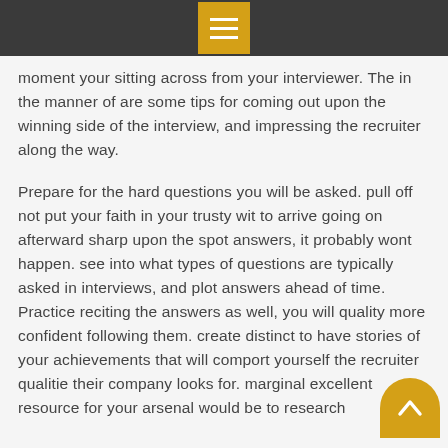Menu icon header bar
moment your sitting across from your interviewer. The in the manner of are some tips for coming out upon the winning side of the interview, and impressing the recruiter along the way.
Prepare for the hard questions you will be asked. pull off not put your faith in your trusty wit to arrive going on afterward sharp upon the spot answers, it probably wont happen. see into what types of questions are typically asked in interviews, and plot answers ahead of time. Practice reciting the answers as well, you will quality more confident following them. create distinct to have stories of your achievements that will comport yourself the recruiter qualities their company looks for. marginal excellent resource for your arsenal would be to research